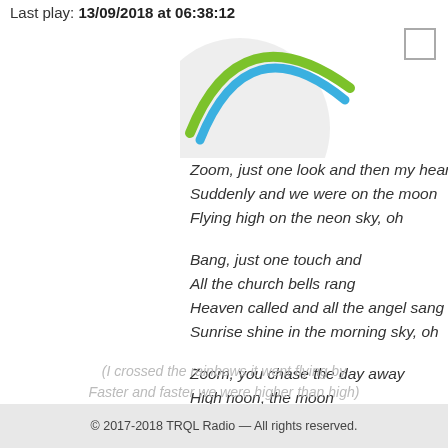Last play: 13/09/2018 at 06:38:12
[Figure (illustration): Partial circular arc logo with green and blue curved lines forming a rainbow shape, on a light gray circular background.]
Zoom, just one look and then my heart went boo
Suddenly and we were on the moon
Flying high on the neon sky, oh
Bang, just one touch and
All the church bells rang
Heaven called and all the angel sang
Sunrise shine in the morning sky, oh
Zoom, you chase the day away
High noon, the moon
And stars came out to play
Then my whole wide world went zoom
(I crossed the rainbows it went flying by
Faster and faster we were higher than high)
© 2017-2018 TRQL Radio — All rights reserved.